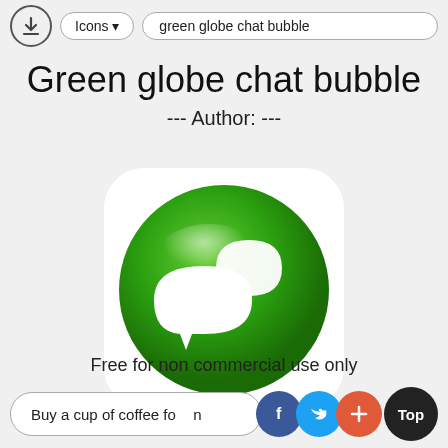Icons ▾   green globe chat bubble
Green globe chat bubble
--- Author: ---
[Figure (illustration): Green globe chat bubble icon: a green glossy circle with two white speech/chat bubbles overlapping, set on a white rounded-rectangle background.]
Free for non commercial use only
Buy a cup of coffee for d n